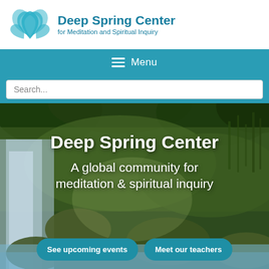Deep Spring Center for Meditation and Spiritual Inquiry
Menu
Search...
[Figure (screenshot): Hero image of a mossy waterfall and green rocky landscape. Overlaid text reads: Deep Spring Center / A global community for meditation & spiritual inquiry. Two teal buttons below: See upcoming events | Meet our teachers]